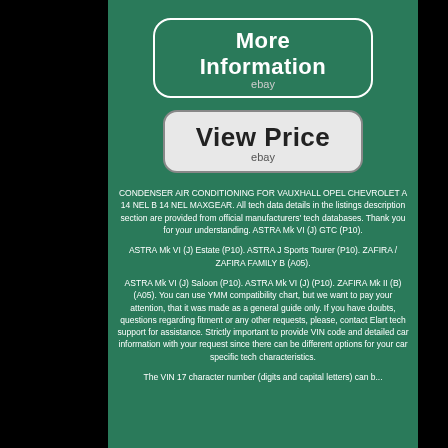[Figure (screenshot): Button with rounded rectangle border labeled 'More Information' with 'ebay' subtitle, on dark green background]
[Figure (screenshot): Button with rounded rectangle border labeled 'View Price' with 'ebay' subtitle, on light gray background]
CONDENSER AIR CONDITIONING FOR VAUXHALL OPEL CHEVROLET A 14 NEL B 14 NEL MAXGEAR. All tech data details in the listings description section are provided from official manufacturers' tech databases. Thank you for your understanding. ASTRA Mk VI (J) GTC (P10).
ASTRA Mk VI (J) Estate (P10). ASTRA J Sports Tourer (P10). ZAFIRA / ZAFIRA FAMILY B (A05).
ASTRA Mk VI (J) Saloon (P10). ASTRA Mk VI (J) (P10). ZAFIRA Mk II (B) (A05). You can use YMM compatibility chart, but we want to pay your attention, that it was made as a general guide only. If you have doubts, questions regarding fitment or any other requests, please, contact Elart tech support for assistance. Strictly important to provide VIN code and detailed car information with your request since there can be different options for your car specific tech characteristics.
The VIN 17 character number (digits and capital letters) can be...